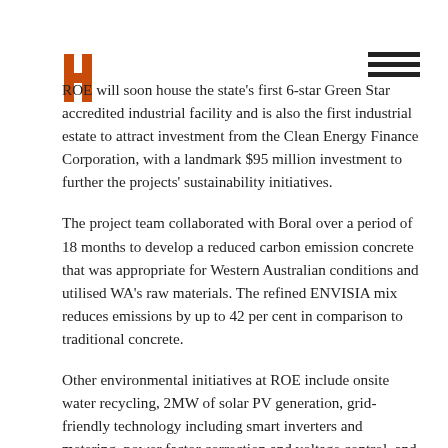[Figure (logo): ROE orange and dark H-shaped logo mark in top left]
[Figure (other): Hamburger menu icon (three horizontal bars) in top right]
ROE will soon house the state's first 6-star Green Star accredited industrial facility and is also the first industrial estate to attract investment from the Clean Energy Finance Corporation, with a landmark $95 million investment to further the projects' sustainability initiatives.
The project team collaborated with Boral over a period of 18 months to develop a reduced carbon emission concrete that was appropriate for Western Australian conditions and utilised WA's raw materials. The refined ENVISIA mix reduces emissions by up to 42 per cent in comparison to traditional concrete.
Other environmental initiatives at ROE include onsite water recycling, 2MW of solar PV generation, grid-friendly technology including smart inverters and metering, power factor correction and voltage control, and the use of energy efficient lighting where possible.
Thank you to the Property Council of Western Australia for recognition of the initiatives in place at ROE and to all of those